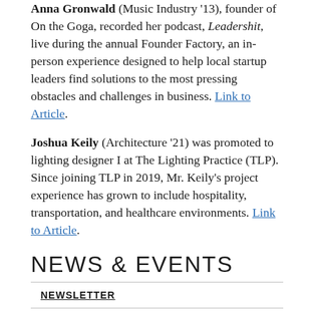Anna Gronwald (Music Industry '13), founder of On the Goga, recorded her podcast, Leadershit, live during the annual Founder Factory, an in-person experience designed to help local startup leaders find solutions to the most pressing obstacles and challenges in business. Link to Article.
Joshua Keily (Architecture '21) was promoted to lighting designer I at The Lighting Practice (TLP). Since joining TLP in 2019, Mr. Keily's project experience has grown to include hospitality, transportation, and healthcare environments. Link to Article.
NEWS & EVENTS
NEWSLETTER
NEWS
2022
2021